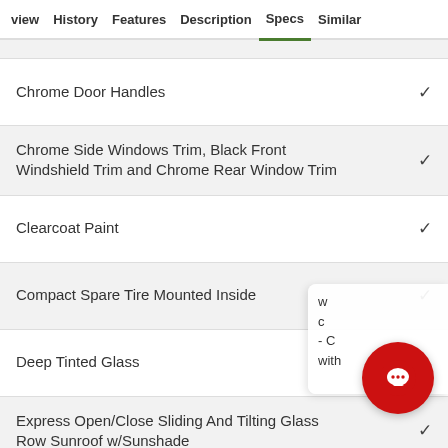view  History  Features  Description  Specs  Similar
Chrome Door Handles ✓
Chrome Side Windows Trim, Black Front Windshield Trim and Chrome Rear Window Trim ✓
Clearcoat Paint ✓
Compact Spare Tire Mounted Inside ✓
Deep Tinted Glass
Express Open/Close Sliding And Tilting Glass Row Sunroof w/Sunshade ✓